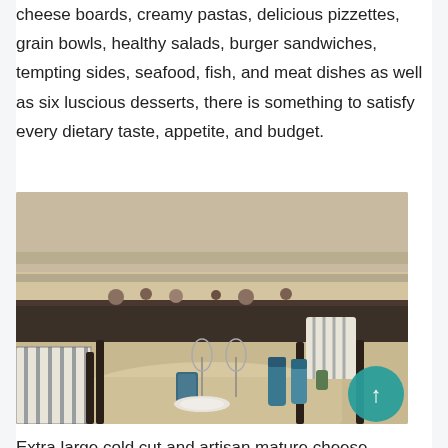cheese boards, creamy pastas, delicious pizzettes, grain bowls, healthy salads, burger sandwiches, tempting sides, seafood, fish, and meat dishes as well as six luscious desserts, there is something to satisfy every dietary taste, appetite, and budget.
[Figure (photo): Interior of a modern restaurant with striped chairs, dark wooden tables, place settings with wine glasses and blue condiment bottles, open kitchen visible in background with shelves of food items]
Extra large cold cut and artisan mature cheese